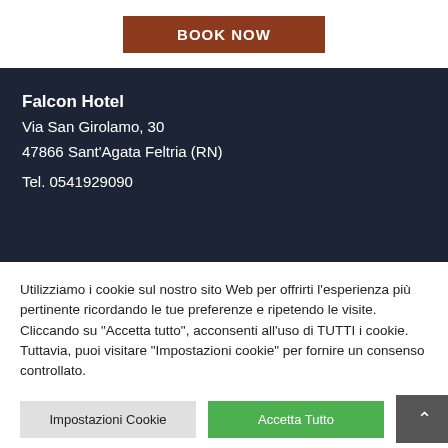[Figure (other): BOOK NOW button with dark red/brown background and white bold uppercase text]
Falcon Hotel
Via San Girolamo, 30
47866 Sant'Agata Feltria (RN)

Tel. 0541929090
Utilizziamo i cookie sul nostro sito Web per offrirti l'esperienza più pertinente ricordando le tue preferenze e ripetendo le visite. Cliccando su "Accetta tutto", acconsenti all'uso di TUTTI i cookie. Tuttavia, puoi visitare "Impostazioni cookie" per fornire un consenso controllato.
Impostazioni Cookie
Accetta Tutto